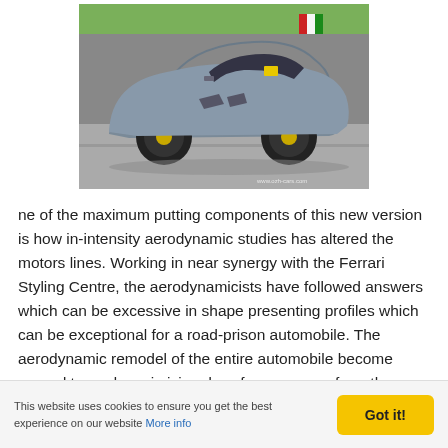[Figure (photo): Side profile photo of a grey Ferrari sports car on a race track, with yellow brake calipers and a red/white/green curb visible in the background. Watermark: www.ozh-cars.com]
ne of the maximum putting components of this new version is how in-intensity aerodynamic studies has altered the motors lines. Working in near synergy with the Ferrari Styling Centre, the aerodynamicists have followed answers which can be excessive in shape presenting profiles which can be exceptional for a road-prison automobile. The aerodynamic remodel of the entire automobile become geared toward maximising downforce ranges: from the brand new the front air intakes, rear diffuser and exhaust
This website uses cookies to ensure you get the best experience on our website More info